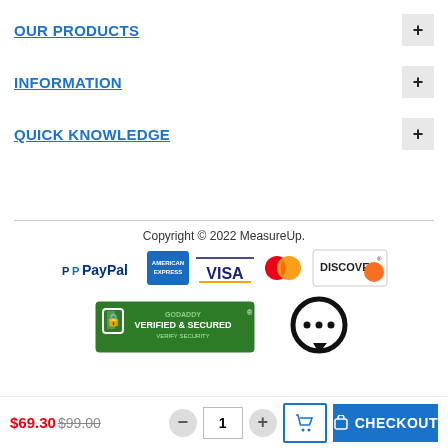OUR PRODUCTS
INFORMATION
QUICK KNOWLEDGE
Copyright © 2022 MeasureUp.
[Figure (logo): Payment logos: PayPal, American Express, Visa, Mastercard, Discover]
[Figure (logo): GoDaddy Verified & Secured badge and chat icon]
$69.30 $99.00 - 1 quantity - cart and CHECKOUT button